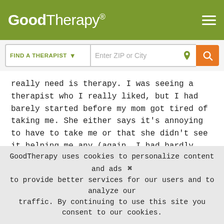GoodTherapy®
[Figure (screenshot): Search bar with 'FIND A THERAPIST' dropdown and 'Enter ZIP or City' input with location icon and orange search button]
really need is therapy. I was seeing a therapist who I really liked, but I had barely started before my mom got tired of taking me. She either says it's annoying to have to take me or that she didn't see it helping me any (again, I had hardly begun therapy). How can I get myself help?
Reply
LaurenGT
GoodTherapy uses cookies to personalize content and ads to provide better services for our users and to analyze our traffic. By continuing to use this site you consent to our cookies.